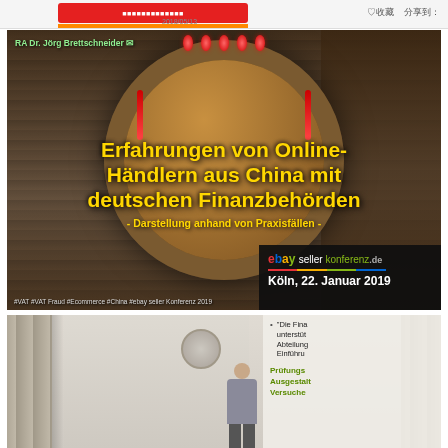[Figure (screenshot): Top navigation bar with red button, date 2018/05/13, heart/collect icon and share button in Chinese interface]
[Figure (photo): Presentation slide photo showing a Chinese restaurant interior with stone walls and circular moon gate arch decorated with red lanterns. Yellow text overlaid reads: 'Erfahrungen von Online-Händlern aus China mit deutschen Finanzbehörden - Darstellung anhand von Praxisfällen -'. Bottom right shows ebay seller konferenz.de logo, Köln, 22. Januar 2019. Author: RA Dr. Jörg Brettschneider. Hashtags: #VAT #VAT Fraud #Ecommerce #China #ebay seller Konferenz 2019]
[Figure (photo): Second slide photo showing a speaker presenting in front of curtains in a beige room, with a wall ornament. Right side shows partial slide text with bullet point about 'Die Finanzbehörden unterstützten Abteilung Einführung...' and green text 'Prüfungsmaßnahmen Ausgestaltung Versuche']